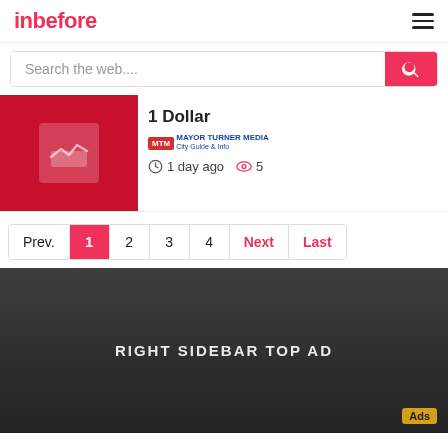inbefore
Search the web....
1 Dollar
[Figure (logo): MTM Mayor Turner Media logo with blue text]
1 day ago  5
Prev.  1  2  3  4  Next  Last
[Figure (infographic): RIGHT SIDEBAR TOP AD dark background advertisement placeholder with Ads badge]